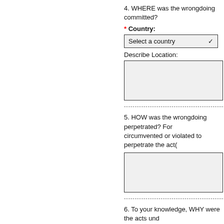4. WHERE was the wrongdoing committed?
* Country:
Describe Location:
5. HOW was the wrongdoing perpetrated? For circumvented or violated to perpetrate the act(
6. To your knowledge, WHY were the acts und wrongdoing.